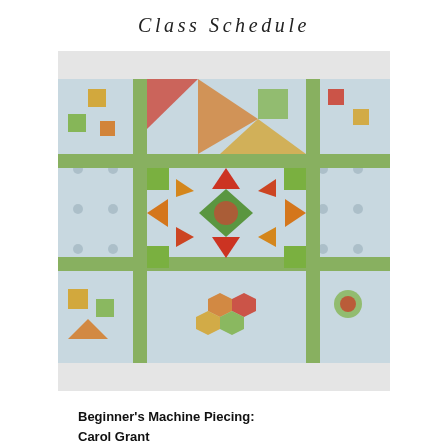Class Schedule
[Figure (photo): Close-up photograph of a patchwork quilt featuring star patterns with red, orange, green, and gold fabric pieces on a light blue dotted background, separated by green sashing strips.]
Beginner's Machine Piecing:
Carol Grant
Wednesday Day Class 10-1 pm